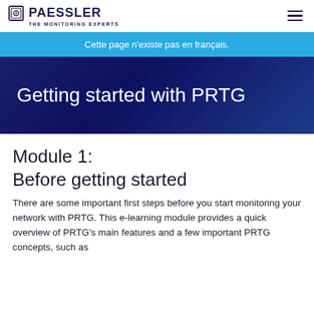PAESSLER THE MONITORING EXPERTS
Cette page n’existe pas en français.
Getting started with PRTG
Module 1:
Before getting started
There are some important first steps before you start monitoring your network with PRTG. This e-learning module provides a quick overview of PRTG's main features and a few important PRTG concepts, such as